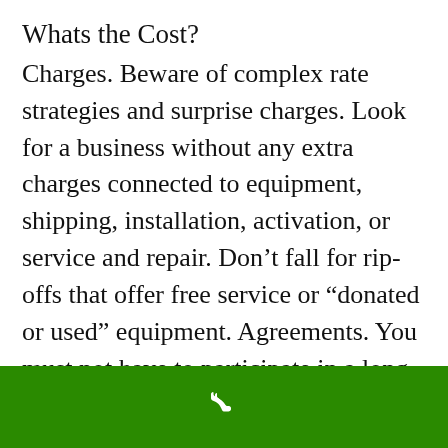Whats the Cost?
Charges. Beware of complex rate strategies and surprise charges. Look for a business without any extra charges connected to equipment, shipping, installation, activation, or service and repair. Don’t fall for rip-offs that offer free service or “donated or used” equipment. Agreements. You must not have to participate in a long-lasting contract. You ought to just need to pay ongoing month-
[Figure (illustration): Green footer bar with white phone handset icon]